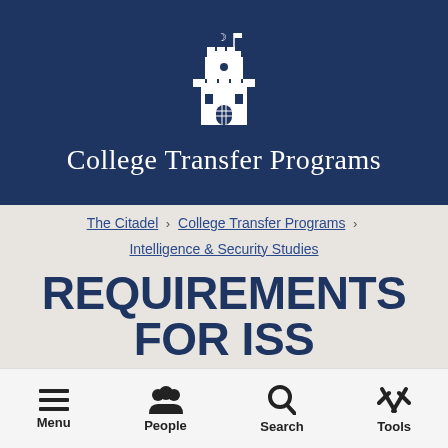[Figure (logo): The Citadel castle/tower logo in white on dark navy background]
College Transfer Programs
The Citadel > College Transfer Programs > Intelligence & Security Studies
REQUIREMENTS FOR ISS
Menu  People  Search  Tools